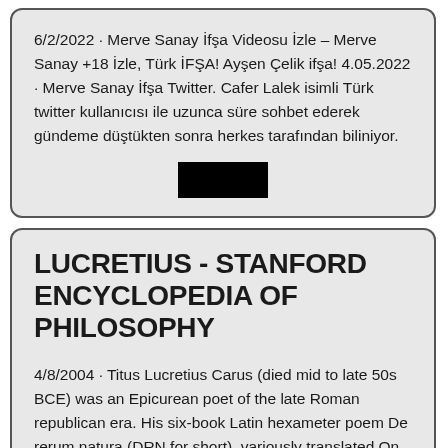6/2/2022 · Merve Sanay İfşa Videosu İzle – Merve Sanay +18 İzle, Türk İFŞA! Ayşen Çelik ifşa! 4.05.2022 · Merve Sanay İfşa Twitter. Cafer Lalek isimli Türk twitter kullanıcısı ile uzunca süre sohbet ederek gündeme düştükten sonra herkes tarafından biliniyor.
[Figure (other): A black rectangle, likely a redacted/blacked-out button or image placeholder]
LUCRETIUS - STANFORD ENCYCLOPEDIA OF PHILOSOPHY
4/8/2004 · Titus Lucretius Carus (died mid to late 50s BCE) was an Epicurean poet of the late Roman republican era. His six-book Latin hexameter poem De rerum natura (DRN for short), variously translated On the nature of things and On the nature of the universe,